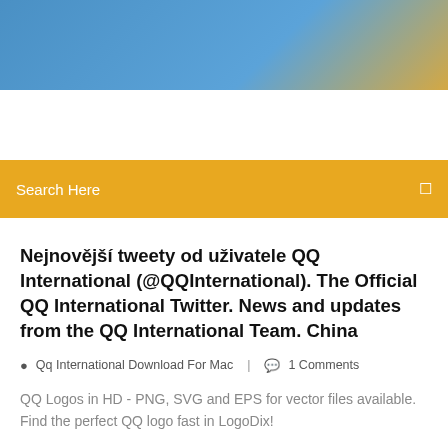[Figure (photo): Blue sky gradient header banner with golden/yellow accent on right side]
Search Here
Nejnovější tweety od uživatele QQ International (@QQInternational). The Official QQ International Twitter. News and updates from the QQ International Team. China
Qq International Download For Mac  |  1 Comments
QQ Logos in HD - PNG, SVG and EPS for vector files available. Find the perfect QQ logo fast in LogoDix!